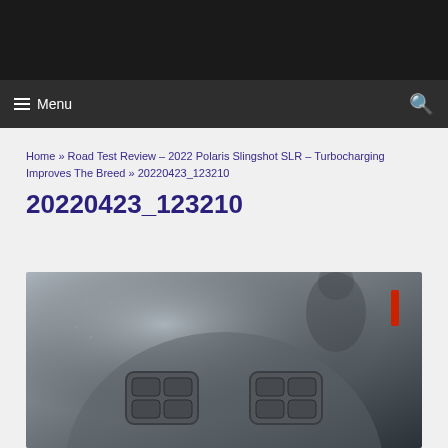Home » Road Test Review – 2022 Polaris Slingshot SLR – Turbocharging Improves The Breed » 20220423_123210
20220423_123210
[Figure (photo): Close-up photograph of a vehicle steering wheel control cluster, showing dark grey plastic with two rectangular button groups on what appears to be a Polaris Slingshot steering wheel]